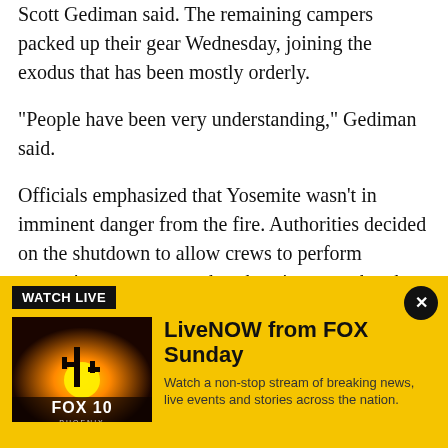Scott Gediman said. The remaining campers packed up their gear Wednesday, joining the exodus that has been mostly orderly.
"People have been very understanding," Gediman said.
Officials emphasized that Yosemite wasn't in imminent danger from the fire. Authorities decided on the shutdown to allow crews to perform protective measures such as burning away brush along roadways without having to deal with traffic in the park that welcomes 4 million visitors annually.
[Figure (infographic): FOX 10 Phoenix LiveNOW advertisement banner with yellow background. Shows 'WATCH LIVE' label, FOX 10 Phoenix thumbnail image with sunset/cactus scene, title 'LiveNOW from FOX Sunday', and description 'Watch a non-stop stream of breaking news, live events and stories across the nation.' with a close button.]